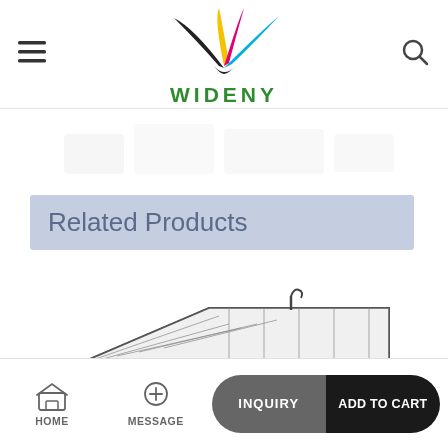[Figure (logo): Wideny brand logo with colorful wing shapes (yellow, magenta, black, cyan) above the text WIDENY in green bold letters]
[Figure (photo): Faded/watermarked product image area showing a partially visible product]
Related Products
[Figure (photo): Product image showing a metal mesh/wire grid panel at the bottom of the page]
HOME   MESSAGE   INQUIRY   ADD TO CART